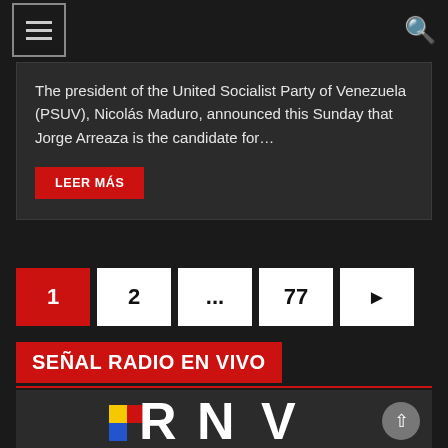Navigation bar with hamburger menu and search icon
The president of the United Socialist Party of Venezuela (PSUV), Nicolás Maduro, announced this Sunday that Jorge Arreaza is the candidate for…
LEER MÁS
1
2
...
77
▶
SEÑAL RADIO EN VIVO
[Figure (logo): RNV (Radio Nacional de Venezuela) logo in white bold letters with colorful geometric shapes]